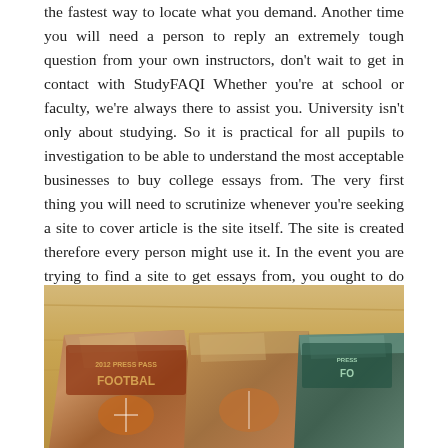the fastest way to locate what you demand. Another time you will need a person to reply an extremely tough question from your own instructors, don't wait to get in contact with StudyFAQI Whether you're at school or faculty, we're always there to assist you. University isn't only about studying. So it is practical for all pupils to investigation to be able to understand the most acceptable businesses to buy college essays from. The very first thing you will need to scrutinize whenever you're seeking a site to cover article is the site itself. The site is created therefore every person might use it. In the event you are trying to find a site to get essays from, you ought to do thorough research first.
[Figure (photo): Photo of three metallic/foil football card packs (2012 Press Pass Football) laid on a wooden surface, showing the tops of the packs with partial text visible.]